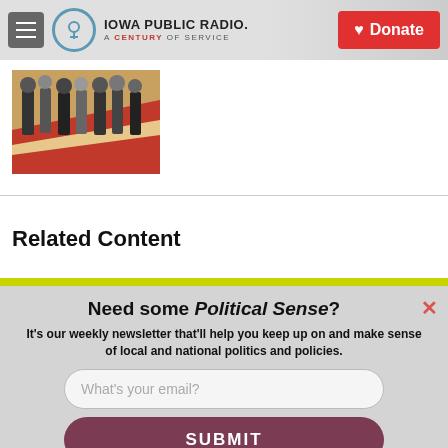Iowa Public Radio. A Century of Service | Donate
[Figure (photo): Thumbnail image of people at an event, colorful floor visible]
Related Content
Need some Political Sense?
It's our weekly newsletter that'll help you keep up on and make sense of local and national politics and policies.
What's your email?
SUBMIT